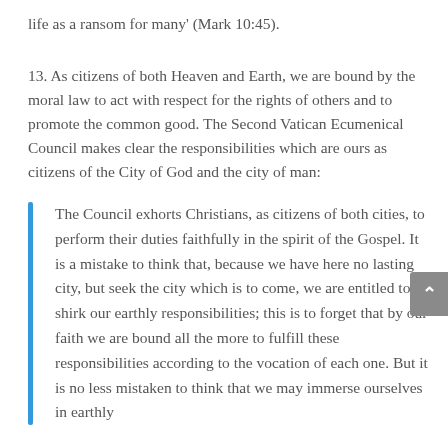life as a ransom for many' (Mark 10:45).
13. As citizens of both Heaven and Earth, we are bound by the moral law to act with respect for the rights of others and to promote the common good. The Second Vatican Ecumenical Council makes clear the responsibilities which are ours as citizens of the City of God and the city of man:
The Council exhorts Christians, as citizens of both cities, to perform their duties faithfully in the spirit of the Gospel. It is a mistake to think that, because we have here no lasting city, but seek the city which is to come, we are entitled to shirk our earthly responsibilities; this is to forget that by our faith we are bound all the more to fulfill these responsibilities according to the vocation of each one. But it is no less mistaken to think that we may immerse ourselves in earthly